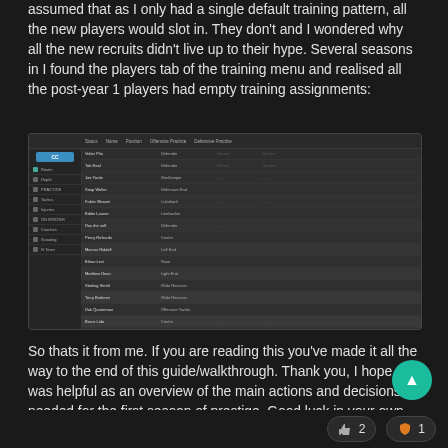assumed that as I only had a single default training pattern, all the new players would slot in. They don't and I wondered why all the new recruits didn't live up to their hype. Several seasons in I found the players tab of the training menu and realised all the post-year 1 players had empty training assignments:
[Figure (screenshot): Screenshot of a sports game's training menu showing a list of players with empty training assignments in the right columns]
So thats it from me. If you are reading this you've made it all the way to the end of this guide/walkthrough. Thank you, I hope this was helpful as an overview of the main actions and decisions needed for the first season of prestige. Good luck in your own path as Head Coaches.
2   1